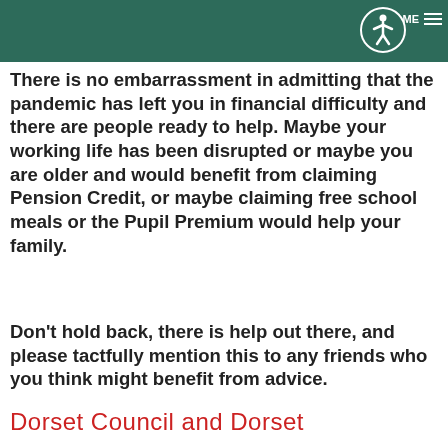ME ☰
There is no embarrassment in admitting that the pandemic has left you in financial difficulty and there are people ready to help. Maybe your working life has been disrupted or maybe you are older and would benefit from claiming Pension Credit, or maybe claiming free school meals or the Pupil Premium would help your family.
Don't hold back, there is help out there, and please tactfully mention this to any friends who you think might benefit from advice.
Dorset Council and Dorset